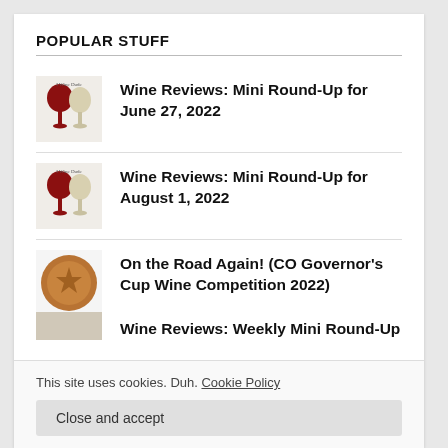POPULAR STUFF
Wine Reviews: Mini Round-Up for June 27, 2022
Wine Reviews: Mini Round-Up for August 1, 2022
On the Road Again! (CO Governor's Cup Wine Competition 2022)
This site uses cookies. Duh. Cookie Policy
Close and accept
Wine Reviews: Weekly Mini Round-Up